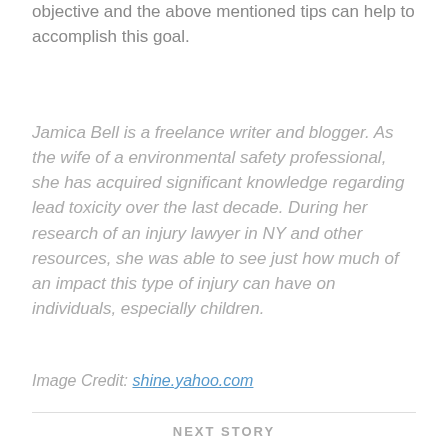objective and the above mentioned tips can help to accomplish this goal.
Jamica Bell is a freelance writer and blogger. As the wife of a environmental safety professional, she has acquired significant knowledge regarding lead toxicity over the last decade. During her research of an injury lawyer in NY and other resources, she was able to see just how much of an impact this type of injury can have on individuals, especially children.
Image Credit: shine.yahoo.com
NEXT STORY
Items We Adore: LTD?s Product Picks for the